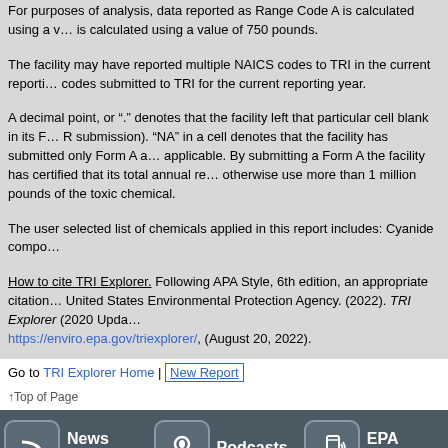For purposes of analysis, data reported as Range Code A is calculated using a value of 5 pounds, Range Code B is calculated using a value of 750 pounds.
The facility may have reported multiple NAICS codes to TRI in the current reporting year. Only the first of the codes submitted to TRI for the current reporting year.
A decimal point, or "." denotes that the facility left that particular cell blank in its Form R submission). "NA" in a cell denotes that the facility has submitted only Form A and Form R is not applicable. By submitting a Form A the facility has certified that its total annual reportable amount does not otherwise use more than 1 million pounds of the toxic chemical.
The user selected list of chemicals applied in this report includes: Cyanide compounds
How to cite TRI Explorer. Following APA Style, 6th edition, an appropriate citation to TRI Explorer is: United States Environmental Protection Agency. (2022). TRI Explorer (2020 Update). Retrieved from https://enviro.epa.gov/triexplorer/, (August 20, 2022).
Go to TRI Explorer Home | New Report
Top of Page
[Figure (infographic): EPA footer with icons for News Feeds, Podcasts, and EPA Mobile on dark background]
EPA Home | Privacy and Security Notice | Contact Us |